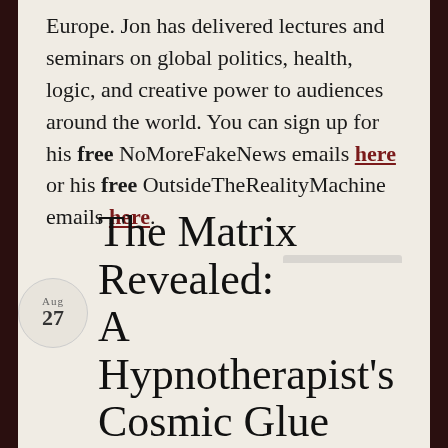Europe. Jon has delivered lectures and seminars on global politics, health, logic, and creative power to audiences around the world. You can sign up for his free NoMoreFakeNews emails here or his free OutsideTheRealityMachine emails here.
Posted in Exit From the Matrix
1 Comment
The Matrix Revealed: A Hypnotherapist's Cosmic Glue